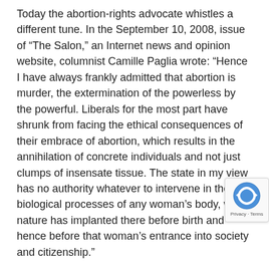Today the abortion-rights advocate whistles a different tune. In the September 10, 2008, issue of “The Salon,” an Internet news and opinion website, columnist Camille Paglia wrote: “Hence I have always frankly admitted that abortion is murder, the extermination of the powerless by the powerful. Liberals for the most part have shrunk from facing the ethical consequences of their embrace of abortion, which results in the annihilation of concrete individuals and not just clumps of insensate tissue. The state in my view has no authority whatever to intervene in the biological processes of any woman’s body, which nature has implanted there before birth and hence before that woman’s entrance into society and citizenship.”
Ms. Paglia echoed the words of Naomi Wolf who argued in October 1995 (New Republic magazine) that she and others of her ilk should accept that in abortion a real life is lost. She went on to call abortion a sad but necessary evil in the interest of a mo... right of autonomy.
Sarah Palin could have indoctrinated her children with the “ru...